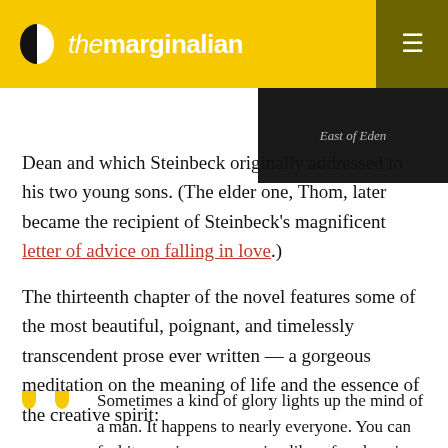the marginalian
[Figure (illustration): East of Eden book cover on dark background]
Dean and which Steinbeck originally addressed to his two young sons. (The elder one, Thom, later became the recipient of Steinbeck's magnificent letter of advice on falling in love.)
The thirteenth chapter of the novel features some of the most beautiful, poignant, and timelessly transcendent prose ever written — a gorgeous meditation on the meaning of life and the essence of the creative spirit:
Sometimes a kind of glory lights up the mind of a man. It happens to nearly everyone. You can feel it growing or preparing like a fuse burning toward